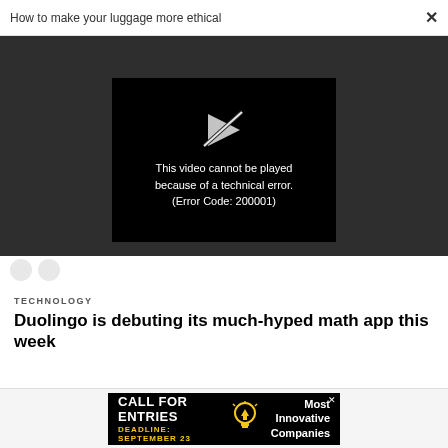How to make your luggage more ethical
[Figure (screenshot): Video player showing error message: This video cannot be played because of a technical error. (Error Code: 200001)]
TECHNOLOGY
Duolingo is debuting its much-hyped math app this week
[Figure (infographic): Advertisement banner: CALL FOR ENTRIES, DEADLINE: SEPTEMBER 23, Most Innovative Companies, with lightbulb icon]